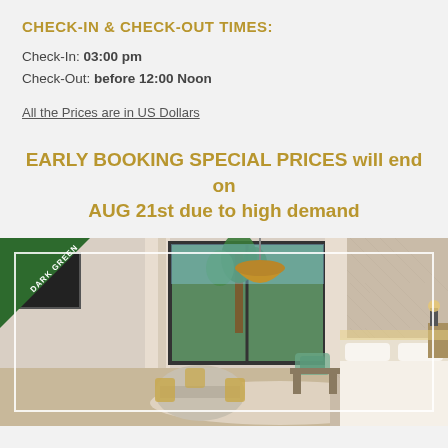CHECK-IN & CHECK-OUT TIMES:
Check-In: 03:00 pm
Check-Out: before 12:00 Noon
All the Prices are in US Dollars
EARLY BOOKING SPECIAL PRICES will end on AUG 21st due to high demand
[Figure (photo): Hotel room interior with large window overlooking palm trees, pendant lamp, dining table, and bed. Dark green corner ribbon badge visible top-left.]